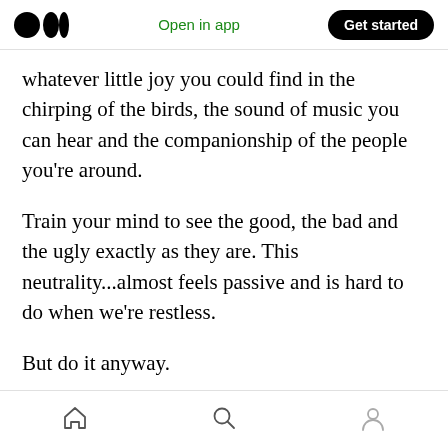Medium logo | Open in app | Get started
whatever little joy you could find in the chirping of the birds, the sound of music you can hear and the companionship of the people you're around.
Train your mind to see the good, the bad and the ugly exactly as they are. This neutrality...almost feels passive and is hard to do when we're restless.
But do it anyway.
Fall out of rhythm and get back to it.
Pe...
Home | Search | Profile